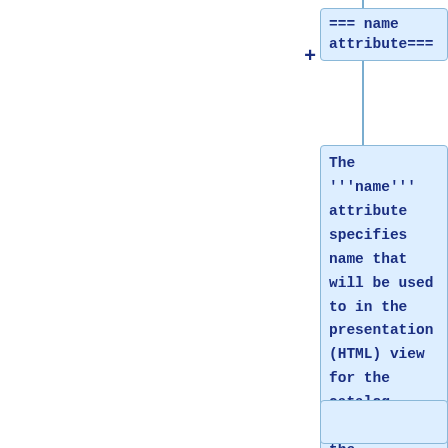[Figure (flowchart): Wiki markup flowchart showing nodes connected by a vertical line with plus signs. Top node contains '=== name attribute===', middle node contains text about the name attribute specifying name used in presentation (HTML) view for the catalog containing the 'datasetScan' is viewed. A third partial node is visible at the bottom.]
=== name attribute===
The '''name''' attribute specifies name that will be used to in the presentation (HTML) view for the catalog containing the '''datasetScan''' is viewed.